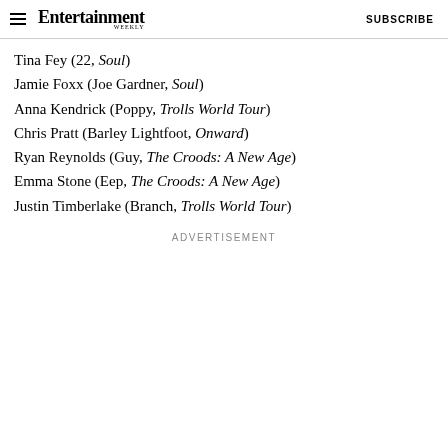Entertainment Weekly — SUBSCRIBE
Tina Fey (22, Soul)
Jamie Foxx (Joe Gardner, Soul)
Anna Kendrick (Poppy, Trolls World Tour)
Chris Pratt (Barley Lightfoot, Onward)
Ryan Reynolds (Guy, The Croods: A New Age)
Emma Stone (Eep, The Croods: A New Age)
Justin Timberlake (Branch, Trolls World Tour)
ADVERTISEMENT